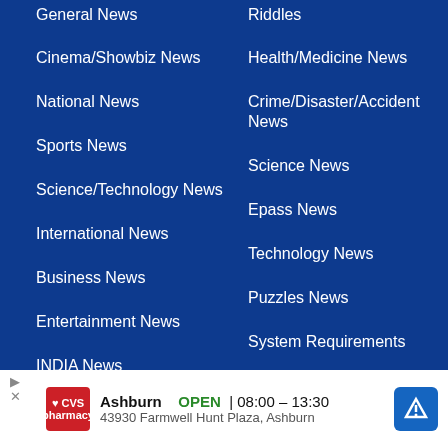General News
Riddles
Cinema/Showbiz News
Health/Medicine News
National News
Crime/Disaster/Accident News
Sports News
Science News
Science/Technology News
Epass News
International News
Technology News
Business News
Puzzles News
Entertainment News
System Requirements News
INDIA News
Tech N...
News
[Figure (infographic): CVS Pharmacy advertisement banner showing store hours 08:00-13:30, address 43930 Farmwell Hunt Plaza Ashburn, with CVS logo, play button, and navigation arrow icon]